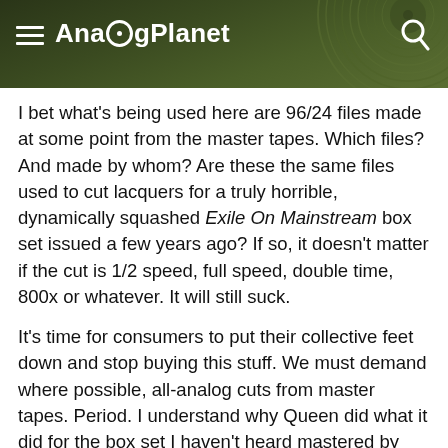AnalogPlanet
I bet what's being used here are 96/24 files made at some point from the master tapes. Which files? And made by whom? Are these the same files used to cut lacquers for a truly horrible, dynamically squashed Exile On Mainstream box set issued a few years ago? If so, it doesn't matter if the cut is 1/2 speed, full speed, double time, 800x or whatever. It will still suck.
It's time for consumers to put their collective feet down and stop buying this stuff. We must demand where possible, all-analog cuts from master tapes. Period. I understand why Queen did what it did for the box set I haven't heard mastered by Bob Ludwig.